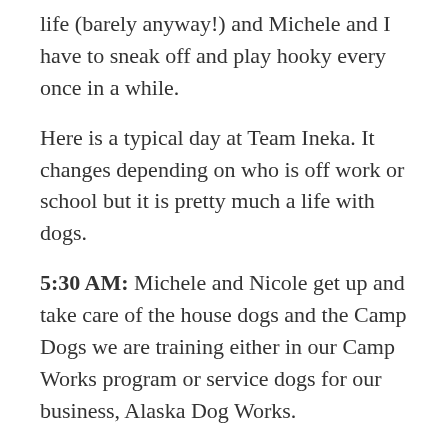life (barely anyway!) and Michele and I have to sneak off and play hooky every once in a while.
Here is a typical day at Team Ineka. It changes depending on who is off work or school but it is pretty much a life with dogs.
5:30 AM: Michele and Nicole get up and take care of the house dogs and the Camp Dogs we are training either in our Camp Works program or service dogs for our business, Alaska Dog Works.
6:30 AM: Michele and Nicole get ready for work and/or school and grab a quick breakfast, usually oatmeal.